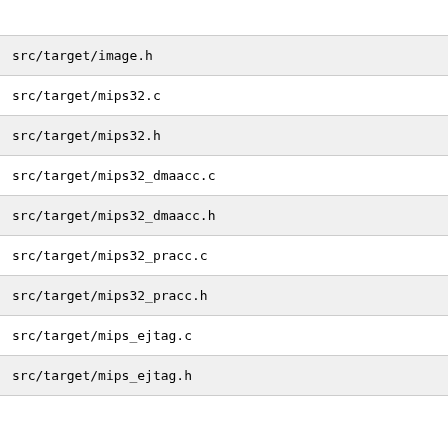src/target/image.h
src/target/mips32.c
src/target/mips32.h
src/target/mips32_dmaacc.c
src/target/mips32_dmaacc.h
src/target/mips32_pracc.c
src/target/mips32_pracc.h
src/target/mips_ejtag.c
src/target/mips_ejtag.h